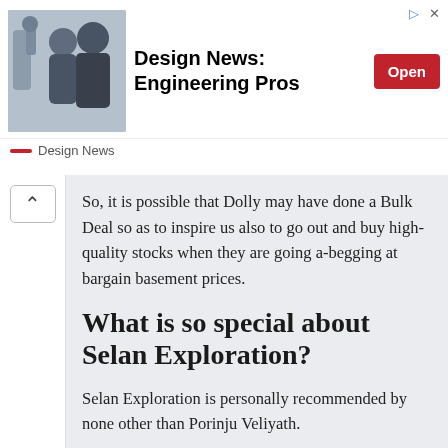[Figure (screenshot): Ad banner for 'Design News: Engineering Pros' with photo of two people and a robot, Open button, Design News logo]
So, it is possible that Dolly may have done a Bulk Deal so as to inspire us also to go out and buy high-quality stocks when they are going a-begging at bargain basement prices.
What is so special about Selan Exploration?
Selan Exploration is personally recommended by none other than Porinju Veliyath.
In 2012, Porinju had addressed a top-secret letter to the subscribers of his elite PMS